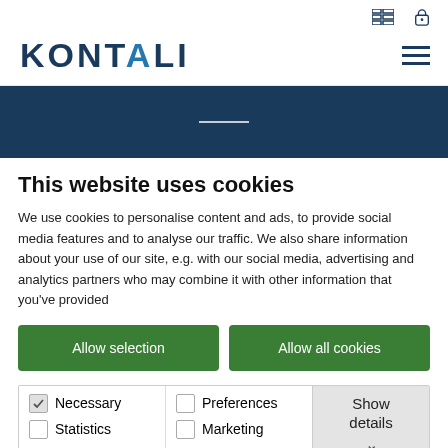[Figure (screenshot): Top navigation bar with grid icon and lock icon on the right]
[Figure (logo): KONTALI logo in dark navy blue with stylized dot, and hamburger menu icon on right]
[Figure (other): Dark navy blue hero banner with a short white horizontal line in the center]
This website uses cookies
We use cookies to personalise content and ads, to provide social media features and to analyse our traffic. We also share information about your use of our site, e.g. with our social media, advertising and analytics partners who may combine it with other information that you've provided
Allow selection
Allow all cookies
Necessary | Preferences | Statistics | Marketing | Show details